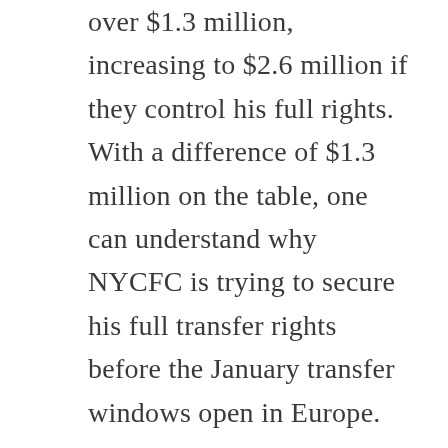over $1.3 million, increasing to $2.6 million if they control his full rights. With a difference of $1.3 million on the table, one can understand why NYCFC is trying to secure his full transfer rights before the January transfer windows open in Europe.

Ronald Matarrita has impressed in his first year in MLS, being named defender of the year by NYCFC. While Matarrita is happy in New York, he has never been shy about his goal of one day playing in Europe. It would be difficult for NYCFC and Ronald Matarrita to pass on a lucrative offer from a European club in the January window.